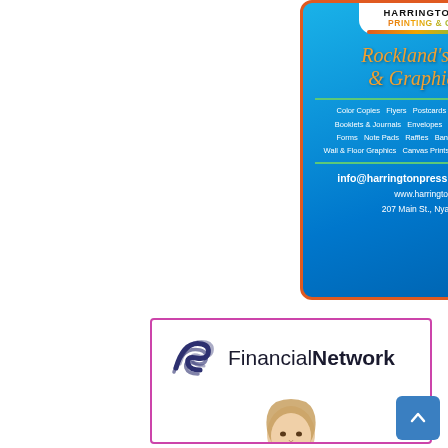[Figure (illustration): Harrington Press Printing & Graphics advertisement. Blue gradient background with orange border. Logo at top with rainbow-colored 'PRINTING & GRAPHICS' text. Tagline: "Rockland's Printing & Graphics Place" in orange italic script. Services list: Color Copies, Flyers, Postcards, Business Cards, Brochures, Booklets & Journals, Envelopes, Invitations, Window Graphics, Forms, Note Pads, Raffles, Banners, Posters, Foam Boards, Wall & Floor Graphics, Canvas Prints, Lawn Signs, Labels, & MORE. Contact: info@harringtonpress.net | 845.353.1832, www.harringtonpress.net, 207 Main St., Nyack, NY 10960]
[Figure (illustration): Financial Network advertisement with purple/magenta border. Features Financial Network logo (dark blue swish icon with 'FinancialNetwork' text). Photo of a woman with blonde hair smiling, wearing a white top.]